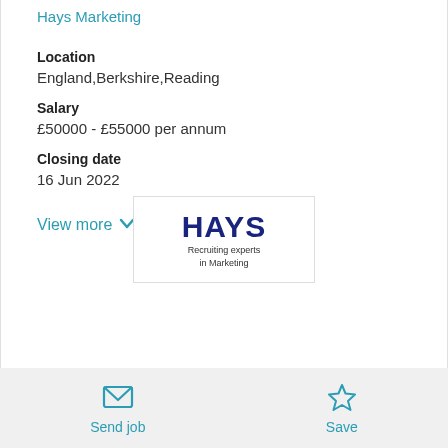Hays Marketing
Location
England,Berkshire,Reading
Salary
£50000 - £55000 per annum
Closing date
16 Jun 2022
View more
[Figure (logo): Hays logo with tagline 'Recruiting experts in Marketing']
Send job   Save